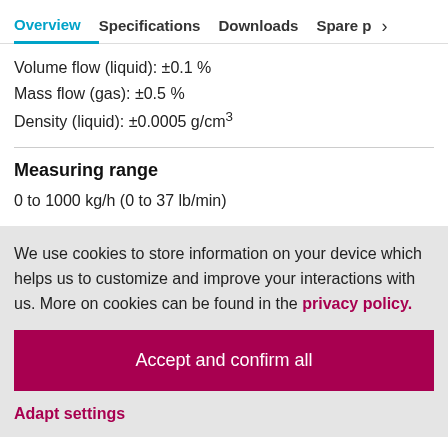Overview  Specifications  Downloads  Spare p >
Volume flow (liquid): ±0.1 %
Mass flow (gas): ±0.5 %
Density (liquid): ±0.0005 g/cm3
Measuring range
0 to 1000 kg/h (0 to 37 lb/min)
We use cookies to store information on your device which helps us to customize and improve your interactions with us. More on cookies can be found in the privacy policy.
Accept and confirm all
Adapt settings